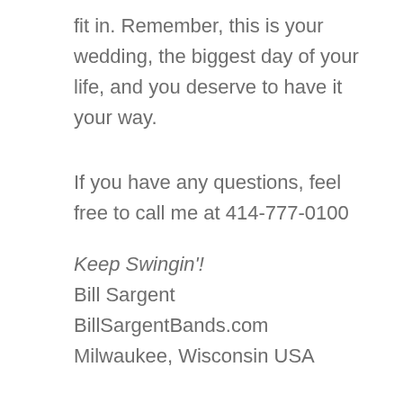fit in. Remember, this is your wedding, the biggest day of your life, and you deserve to have it your way.
If you have any questions, feel free to call me at 414-777-0100
Keep Swingin'!
Bill Sargent
BillSargentBands.com
Milwaukee, Wisconsin USA
This is Part 4 in a series entitled, “The Biggest